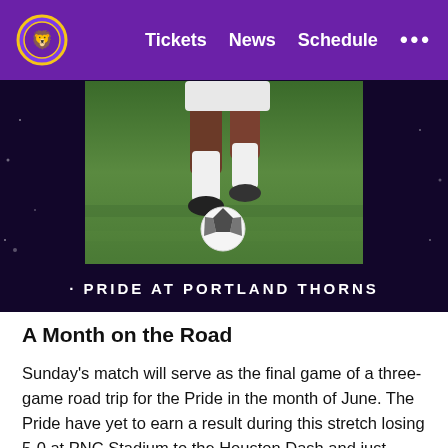Tickets  News  Schedule  ...
[Figure (photo): A soccer player dribbling a ball on a green grass field, viewed from waist down, wearing white shorts and white socks. Image is centered on a dark purple background.]
· PRIDE AT PORTLAND THORNS
A Month on the Road
Sunday's match will serve as the final game of a three-game road trip for the Pride in the month of June. The Pride have yet to earn a result during this stretch losing 5-0 at PNC Stadium to the Houston Dash and just recently dropping a 1-0 result at SeatGeek Stadium to the Chicago Red Stars. It is the first time in Club history the team has played every game in a month away from home. In total, the team will travel 10,410 miles from